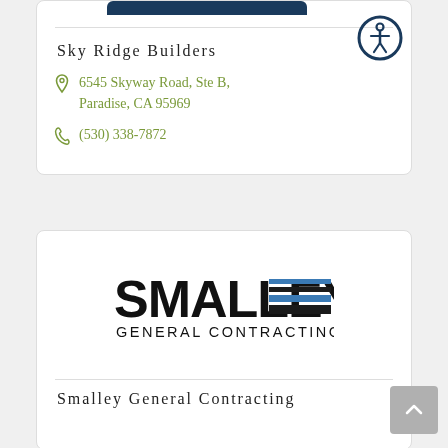[Figure (logo): Accessibility icon button - circular dark blue border with white figure icon]
Sky Ridge Builders
6545 Skyway Road, Ste B, Paradise, CA 95969
(530) 338-7872
[Figure (logo): Smalley General Contracting logo - bold black SMALLEY text with stacked horizontal blue and black lines graphic element, GENERAL CONTRACTING in smaller caps below]
Smalley General Contracting